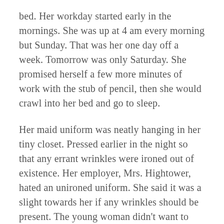bed. Her workday started early in the mornings. She was up at 4 am every morning but Sunday. That was her one day off a week. Tomorrow was only Saturday. She promised herself a few more minutes of work with the stub of pencil, then she would crawl into her bed and go to sleep.
Her maid uniform was neatly hanging in her tiny closet. Pressed earlier in the night so that any errant wrinkles were ironed out of existence. Her employer, Mrs. Hightower, hated an unironed uniform. She said it was a slight towards her if any wrinkles should be present. The young woman didn't want to slight Mrs. Hightower. She had a lot of respect towards her employer, if not outright love.